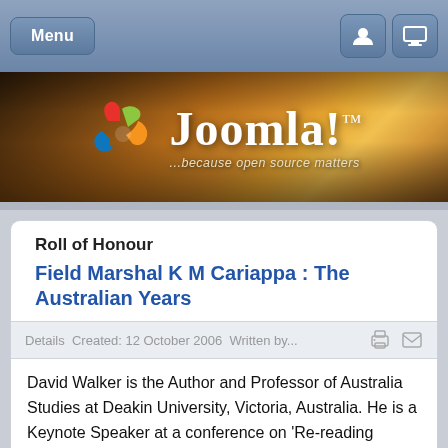Menu
[Figure (logo): Joomla! CMS banner logo with tagline '...because open source matters' on a warm orange/brown crowd background]
Roll of Honour
Field Marshal K M Cariappa : The Australian Years
Details  Created: 12 October 2006  Written by...
David Walker is the Author and Professor of Australia Studies at Deakin University, Victoria, Australia. He is a Keynote Speaker at a conference on 'Re-reading Orientalism' at Jadavpur University, Kolkata, from 12-14 August 2004. Professor Walker is keen to hear from people who knew General Cariappa and from former Colombo Plan students. Email: